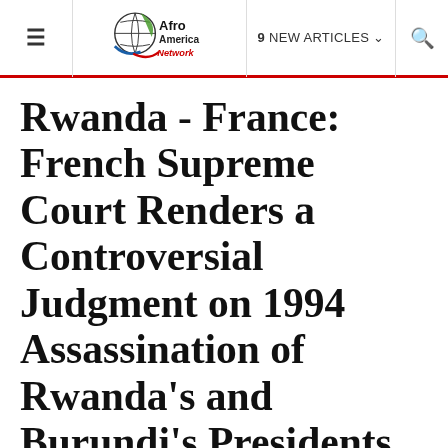≡  Afro America Network  9 NEW ARTICLES  🔍
Rwanda - France: French Supreme Court Renders a Controversial Judgment on 1994 Assassination of Rwanda's and Burundi's Presidents Juvénal Habyarimana and